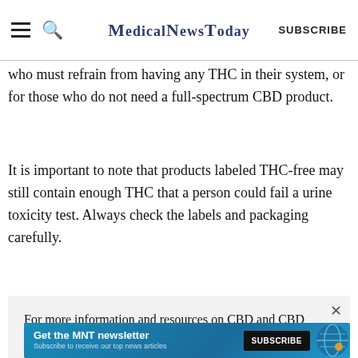MedicalNewsToday | SUBSCRIBE
who must refrain from having any THC in their system, or for those who do not need a full-spectrum CBD product.
It is important to note that products labeled THC-free may still contain enough THC that a person could fail a urine toxicity test. Always check the labels and packaging carefully.
For more information and resources on CBD and CBD products, please visit our dedicated hub.
[Figure (screenshot): Advertisement banner: Get the MNT newsletter. Subscribe to receive our top news articles. SUBSCRIBE button.]